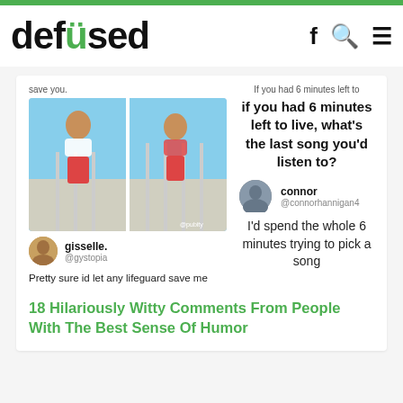defused
[Figure (screenshot): Screenshot of a tweet by gisselle. (@gystopia) with two photos of a woman in a bikini on a balcony, with text: Pretty sure id let any lifeguard save me]
[Figure (screenshot): Screenshot of tweet asking 'If you had 6 minutes left to live, what's the last song you'd listen to?' with reply from connor @connorhannigan4: I'd spend the whole 6 minutes trying to pick a song]
18 Hilariously Witty Comments From People With The Best Sense Of Humor